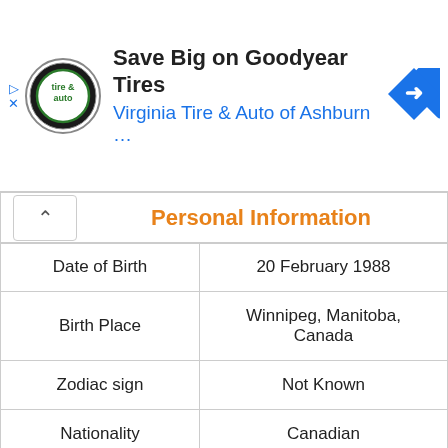[Figure (screenshot): Advertisement banner for Virginia Tire & Auto of Ashburn featuring Goodyear Tires promotion. Includes logo, title text, and navigation arrow icon.]
Personal Information
| Date of Birth | 20 February 1988 |
| Birth Place | Winnipeg, Manitoba, Canada |
| Zodiac sign | Not Known |
| Nationality | Canadian |
| School Name | Oak Park High School |
| College Name | Primary University |
| Qualifications | Graduate |